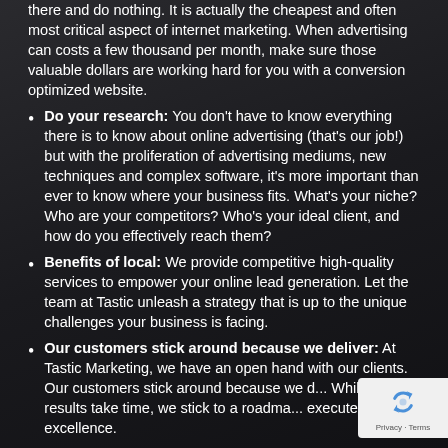there and do nothing. It is actually the cheapest and often most critical aspect of internet marketing. When advertising can costs a few thousand per month, make sure those valuable dollars are working hard for you with a conversion optimized website.
Do your research: You don't have to know everything there is to know about online advertising (that's our job!) but with the proliferation of advertising mediums, new techniques and complex software, it's more important than ever to know where your business fits. What's your niche? Who are your competitors? Who's your ideal client, and how do you effectively reach them?
Benefits of local: We provide competitive high-quality services to empower your online lead generation. Let the team at Tastic unleash a strategy that is up to the unique challenges your business is facing.
Our customers stick around because we deliver: At Tastic Marketing, we have an open hand with our clients. Our customers stick around because we d... While the results take time, we stick to a roadma... execute with excellence.